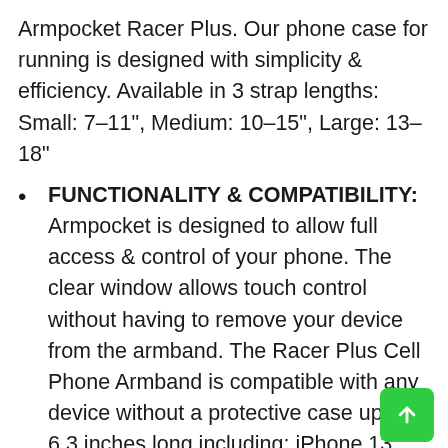Armpocket Racer Plus. Our phone case for running is designed with simplicity & efficiency. Available in 3 strap lengths: Small: 7-11", Medium: 10-15", Large: 13-18"
FUNCTIONALITY & COMPATIBILITY: Armpocket is designed to allow full access & control of your phone. The clear window allows touch control without having to remove your device from the armband. The Racer Plus Cell Phone Armband is compatible with any device without a protective case up to 6.3 inches long including: iPhone 13 mini, 12 mini, 8 Plus, 7 Plus, 6/6s Plus. Galaxy S7, S7 active, S7 edge, S6, S6 active, S6 edge, S6 edge+. Pixel 4a, Pixel 3, Pixel 2, Pixel XL, Pixel (all without case).
NON SLIP SECURE GRIP: Memory foam padding,